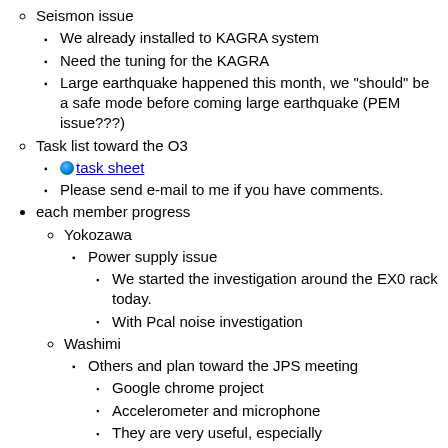Seismon issue
We already installed to KAGRA system
Need the tuning for the KAGRA
Large earthquake happened this month, we "should" be a safe mode before coming large earthquake (PEM issue???)
Task list toward the O3
🌐 task sheet
Please send e-mail to me if you have comments.
each member progress
Yokozawa
Power supply issue
We started the investigation around the EX0 rack today.
With Pcal noise investigation
Washimi
Others and plan toward the JPS meeting
Google chrome project
Accelerometer and microphone
They are very useful, especially